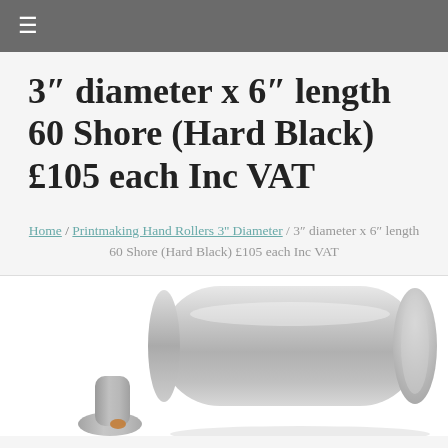≡
3" diameter x 6" length 60 Shore (Hard Black) £105 each Inc VAT
Home / Printmaking Hand Rollers 3'' Diameter / 3" diameter x 6" length 60 Shore (Hard Black) £105 each Inc VAT
[Figure (photo): Product photo of a silver/metallic printmaking hand roller, showing the cylindrical roller and handle, photographed on a white background.]